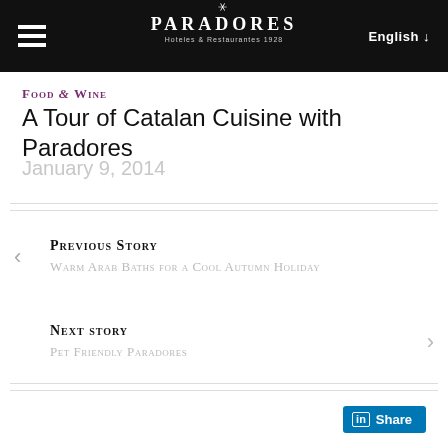PARADORES | Hoteles & Restaurantes 1928 | English
Food & Wine
A Tour of Catalan Cuisine with Paradores
January 9, 2014
Previous Story
Warm Arab Baths for a Cool Autumn Holiday
Next story
Pet Friendly Paradores
Share